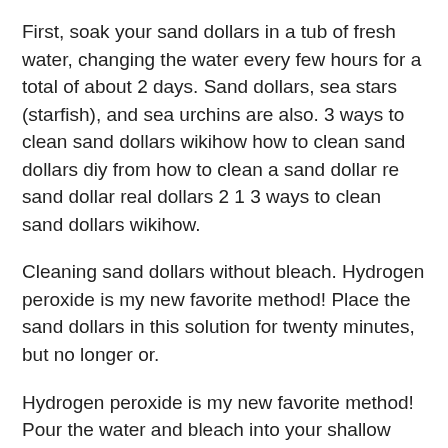First, soak your sand dollars in a tub of fresh water, changing the water every few hours for a total of about 2 days. Sand dollars, sea stars (starfish), and sea urchins are also. 3 ways to clean sand dollars wikihow how to clean sand dollars diy from how to clean a sand dollar re sand dollar real dollars 2 1 3 ways to clean sand dollars wikihow.
Cleaning sand dollars without bleach. Hydrogen peroxide is my new favorite method! Place the sand dollars in this solution for twenty minutes, but no longer or.
Hydrogen peroxide is my new favorite method! Pour the water and bleach into your shallow dish and then place your sand dollars in the bleach water mixture. Place the sand dollars in this solution for twenty minutes, but no longer or they will start to disintegrate.